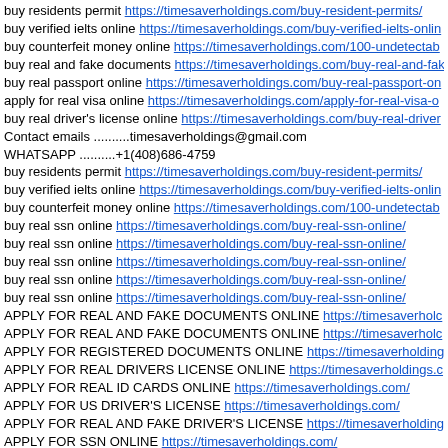buy residents permit https://timesaverholdings.com/buy-resident-permits/
buy verified ielts online https://timesaverholdings.com/buy-verified-ielts-online/
buy counterfeit money online https://timesaverholdings.com/100-undetectable-counterfeit-money/
buy real and fake documents https://timesaverholdings.com/buy-real-and-fake-documents/
buy real passport online https://timesaverholdings.com/buy-real-passport-online/
apply for real visa online https://timesaverholdings.com/apply-for-real-visa-online/
buy real driver's license online https://timesaverholdings.com/buy-real-drivers-license-online/
Contact emails ..........timesaverholdings@gmail.com
WHATSAPP ..........+1(408)686-4759
buy residents permit https://timesaverholdings.com/buy-resident-permits/
buy verified ielts online https://timesaverholdings.com/buy-verified-ielts-online/
buy counterfeit money online https://timesaverholdings.com/100-undetectable-counterfeit-money/
buy real ssn online https://timesaverholdings.com/buy-real-ssn-online/
buy real ssn online https://timesaverholdings.com/buy-real-ssn-online/
buy real ssn online https://timesaverholdings.com/buy-real-ssn-online/
buy real ssn online https://timesaverholdings.com/buy-real-ssn-online/
buy real ssn online https://timesaverholdings.com/buy-real-ssn-online/
APPLY FOR REAL AND FAKE DOCUMENTS ONLINE https://timesaverholdings.com/
APPLY FOR REAL AND FAKE DOCUMENTS ONLINE https://timesaverholdings.com/
APPLY FOR REGISTERED DOCUMENTS ONLINE https://timesaverholdings.com/
APPLY FOR REAL DRIVERS LICENSE ONLINE https://timesaverholdings.com/
APPLY FOR REAL ID CARDS ONLINE https://timesaverholdings.com/
APPLY FOR US DRIVER'S LICENSE https://timesaverholdings.com/
APPLY FOR REAL AND FAKE DRIVER'S LICENSE https://timesaverholdings.com/
APPLY FOR SSN ONLINE https://timesaverholdings.com/
BUY REAL PASSPORTS, DRIVER'S LICENSE AT https://timesaverholdings.com/
SECURITY NUMBER CARD (SSN card) RESIDENTS PERMIT, VISA, WORK PERMIT
GMAT, NEBOSH, TOEFL, NIN, SIN, marriage certificate
Buy undetectable counterfeit money online
At timesaverholdings documents, we produce original passports, driver's license